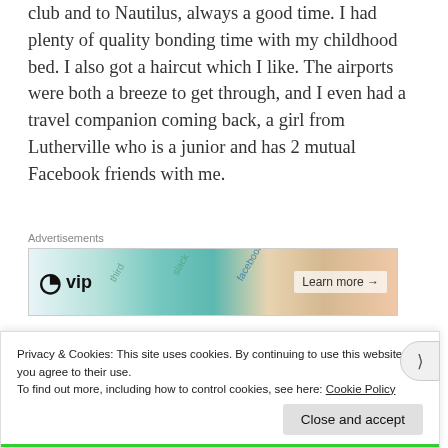club and to Nautilus, always a good time. I had plenty of quality bonding time with my childhood bed. I also got a haircut which I like. The airports were both a breeze to get through, and I even had a travel companion coming back, a girl from Lutherville who is a junior and has 2 mutual Facebook friends with me.
[Figure (other): WordPress VIP advertisement banner with colorful background showing overlapping app icons (Slack, Facebook, etc.) and 'Learn more →' button]
The bad: well, for one thing, coming back. I think I spent the majority of the trip dreading returning, and the awful slog that will be December for me. How bad is it? I just put down a
Privacy & Cookies: This site uses cookies. By continuing to use this website, you agree to their use.
To find out more, including how to control cookies, see here: Cookie Policy